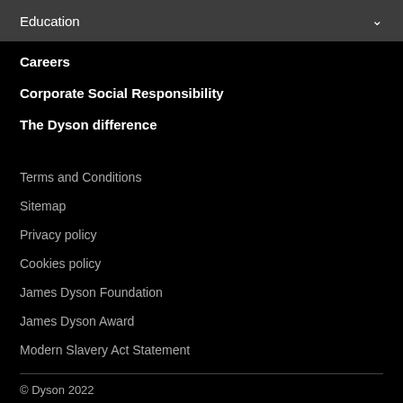Education
Careers
Corporate Social Responsibility
The Dyson difference
Terms and Conditions
Sitemap
Privacy policy
Cookies policy
James Dyson Foundation
James Dyson Award
Modern Slavery Act Statement
© Dyson 2022